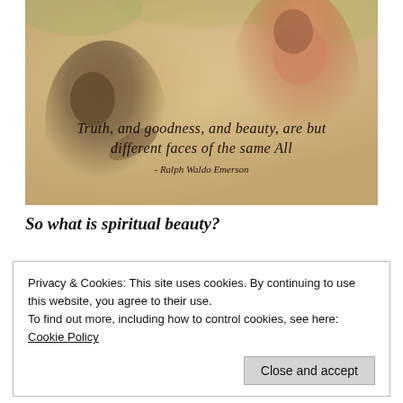[Figure (photo): Photo collage of two women doing yoga/fitness poses outdoors, with a warm golden-orange blurred nature background. Overlaid with a cursive quote: 'Truth, and goodness, and beauty, are but different faces of the same All - Ralph Waldo Emerson']
So what is spiritual beauty?
Privacy & Cookies: This site uses cookies. By continuing to use this website, you agree to their use.
To find out more, including how to control cookies, see here:
Cookie Policy
Close and accept